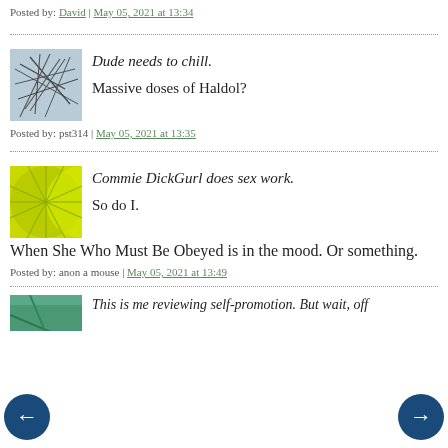Posted by: David | May 05, 2021 at 13:34
[Figure (illustration): Abstract scribble avatar image with gray/blue lines on light blue background]
Dude needs to chill.

Massive doses of Haldol?
Posted by: pst314 | May 05, 2021 at 13:35
[Figure (illustration): Lime green starburst/dandelion avatar image]
Commie DickGurl does sex work.

So do I.

When She Who Must Be Obeyed is in the mood. Or something.
Posted by: anon a mouse | May 05, 2021 at 13:49
[Figure (illustration): Partial avatar image at bottom, teal/green colors]